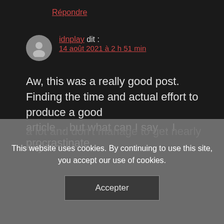Répondre
idnplay dit : 14 août 2021 à 2 h 51 min
Aw, this was a really good post. Finding the time and actual effort to produce a good article… but what can I say… I procrastinate
a lot and don't manage to get nearly any
This website uses cookies. By continuing to use this site, you accept our use of cookies.
Accepter